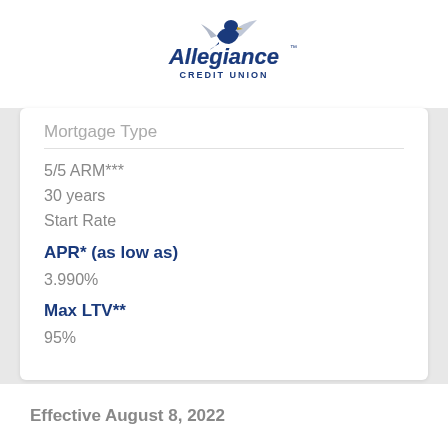[Figure (logo): Allegiance Credit Union logo with eagle graphic above stylized text]
Mortgage Type
5/5 ARM***
30 years
Start Rate
APR* (as low as)
3.990%
Max LTV**
95%
Effective August 8, 2022